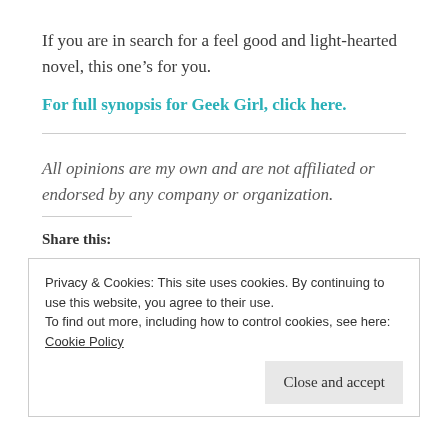If you are in search for a feel good and light-hearted novel, this one’s for you.
For full synopsis for Geek Girl, click here.
All opinions are my own and are not affiliated or endorsed by any company or organization.
Share this:
Privacy & Cookies: This site uses cookies. By continuing to use this website, you agree to their use.
To find out more, including how to control cookies, see here: Cookie Policy
Close and accept